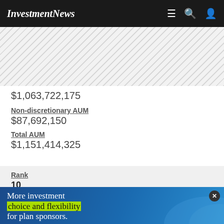InvestmentNews
$1,063,722,175
Non-discretionary AUM
$87,692,150
Total AUM
$1,151,414,325
Rank
10
Business Name
WEALTHSPIRE ADVISORS
[Figure (infographic): Advertisement banner: 'More investment choice and flexibility for plan sponsors.' with yellow/green highlight on 'choice and flexibility', blue background.]